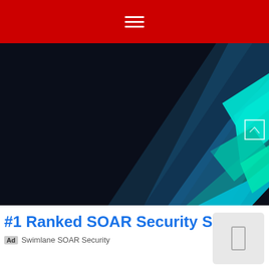[Figure (screenshot): Dark background banner image with diagonal geometric shapes in teal, cyan and blue colors, with UI overlay elements including a circle and square icon]
#1 Ranked SOAR Security SAAS
Ad   Swimlane SOAR Security